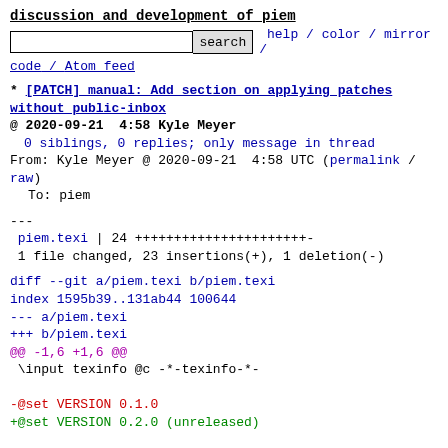discussion and development of piem
search  help / color / mirror / code / Atom feed
* [PATCH] manual: Add section on applying patches without public-inbox
@ 2020-09-21  4:58 Kyle Meyer
  0 siblings, 0 replies; only message in thread
From: Kyle Meyer @ 2020-09-21  4:58 UTC (permalink / raw)
  To: piem
---
 piem.texi | 24 ++++++++++++++++++++++-
 1 file changed, 23 insertions(+), 1 deletion(-)
diff --git a/piem.texi b/piem.texi
index 1595b39..131ab44 100644
--- a/piem.texi
+++ b/piem.texi
@@ -1,6 +1,6 @@
 \input texinfo @c -*-texinfo-*-

-@set VERSION 0.1.0
+@set VERSION 0.2.0 (unreleased)

 @setfilename piem.info
 @documentencoding UTF-8
@@ -336,6 +336,28 @@ than identifying the thread based